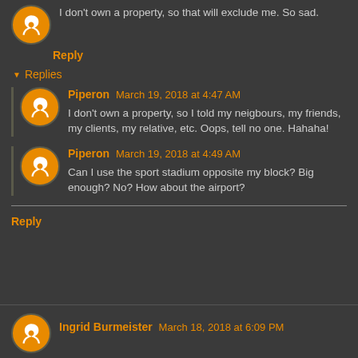I don't own a property, so that will exclude me. So sad.
Reply
Replies
Piperon March 19, 2018 at 4:47 AM
I don't own a property, so I told my neigbours, my friends, my clients, my relative, etc. Oops, tell no one. Hahaha!
Piperon March 19, 2018 at 4:49 AM
Can I use the sport stadium opposite my block? Big enough? No? How about the airport?
Reply
Ingrid Burmeister March 18, 2018 at 6:09 PM